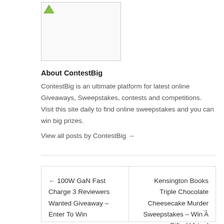[Figure (logo): ContestBig logo image placeholder with small green icon in top-left corner, inside a bordered box]
About ContestBig
ContestBig is an ultimate platform for latest online Giveaways, Sweepstakes, contests and competitions. Visit this site daily to find online sweepstakes and you can win big prizes.
View all posts by ContestBig →
← 100W GaN Fast Charge 3 Reviewers Wanted Giveaway – Enter To Win
Kensington Books Triple Chocolate Cheesecake Murder Sweepstakes – Win A Gifted Virtual Masterclass →